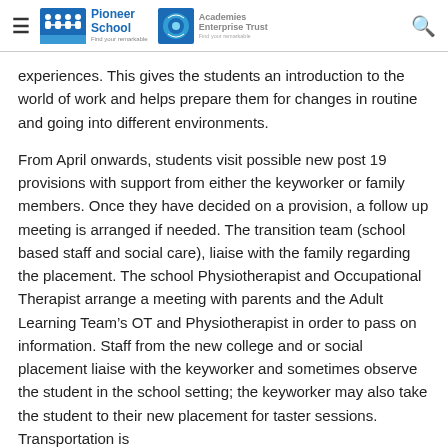Pioneer School | Academies Enterprise Trust
experiences. This gives the students an introduction to the world of work and helps prepare them for changes in routine and going into different environments.
From April onwards, students visit possible new post 19 provisions with support from either the keyworker or family members. Once they have decided on a provision, a follow up meeting is arranged if needed. The transition team (school based staff and social care), liaise with the family regarding the placement. The school Physiotherapist and Occupational Therapist arrange a meeting with parents and the Adult Learning Team's OT and Physiotherapist in order to pass on information. Staff from the new college and or social placement liaise with the keyworker and sometimes observe the student in the school setting; the keyworker may also take the student to their new placement for taster sessions. Transportation is